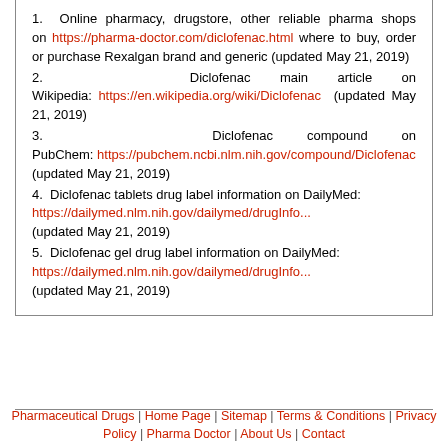1. Online pharmacy, drugstore, other reliable pharma shops on https://pharma-doctor.com/diclofenac.html where to buy, order or purchase Rexalgan brand and generic (updated May 21, 2019)
2. Diclofenac main article on Wikipedia: https://en.wikipedia.org/wiki/Diclofenac (updated May 21, 2019)
3. Diclofenac compound on PubChem: https://pubchem.ncbi.nlm.nih.gov/compound/Diclofenac (updated May 21, 2019)
4. Diclofenac tablets drug label information on DailyMed: https://dailymed.nlm.nih.gov/dailymed/drugInfo... (updated May 21, 2019)
5. Diclofenac gel drug label information on DailyMed: https://dailymed.nlm.nih.gov/dailymed/drugInfo... (updated May 21, 2019)
Pharmaceutical Drugs | Home Page | Sitemap | Terms & Conditions | Privacy Policy | Pharma Doctor | About Us | Contact